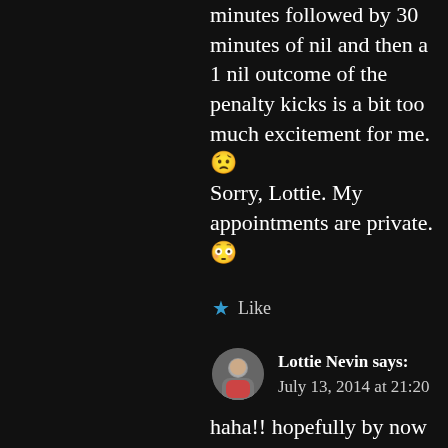minutes followed by 30 minutes of nil and then a 1 nil outcome of the penalty kicks is a bit too much excitement for me. 😟 Sorry, Lottie. My appointments are private. 😳
★ Like
Lottie Nevin says: July 13, 2014 at 21:20
haha!! hopefully by now you will see that I've